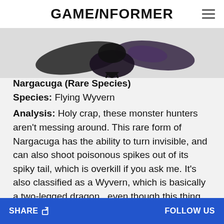GAMEINFORMER
[Figure (photo): Partial image of the Rare Species Nargacuga monster, showing dark winged creature against a light grey background]
Nargacuga (Rare Species)
Species: Flying Wyvern
Analysis: Holy crap, these monster hunters aren't messing around. This rare form of Nargacuga has the ability to turn invisible, and can also shoot poisonous spikes out of its spiky tail, which is overkill if you ask me. It's also classified as a Wyvern, which is basically a two-legged dragon...even though this thing clearly has four legs. I'm not sure what purpose the orange markings under its eyes and rainbow-colored scales on
SHARE   FOLLOW US